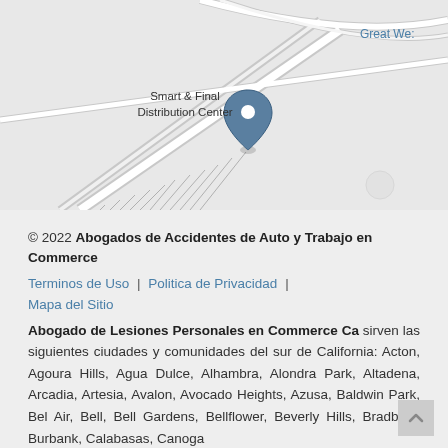[Figure (map): Google Maps screenshot showing Smart & Final Distribution Center location marker, with road network visible. 'Great We' text partially visible at top right in blue.]
© 2022 Abogados de Accidentes de Auto y Trabajo en Commerce
Terminos de Uso | Politica de Privacidad | Mapa del Sitio
Abogado de Lesiones Personales en Commerce Ca sirven las siguientes ciudades y comunidades del sur de California: Acton, Agoura Hills, Agua Dulce, Alhambra, Alondra Park, Altadena, Arcadia, Artesia, Avalon, Avocado Heights, Azusa, Baldwin Park, Bel Air, Bell, Bell Gardens, Bellflower, Beverly Hills, Bradbury, Burbank, Calabasas, Canoga